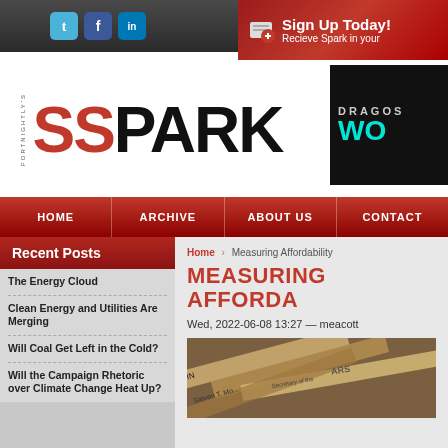Fortnightly's SPARK - social icons: Twitter, Facebook, LinkedIn
[Figure (screenshot): Sign Up Today! Recieve Spark in your [inbox]]
SPARK (Fortnightly's)
[Figure (logo): Dragos WO advertisement - dark background with teal text]
HOME | ARCHIVE | ABOUT US | CONTACT
Recent Posts
The Energy Cloud
Clean Energy and Utilities Are Merging
Will Coal Get Left in the Cold?
Will the Campaign Rhetoric over Climate Change Heat Up?
Home › Measuring Affordability
MEASURING AFFORDA...
Wed, 2022-06-08 13:27 — meacott
[Figure (photo): Close-up photo of dollar bills/currency with handwritten text visible]